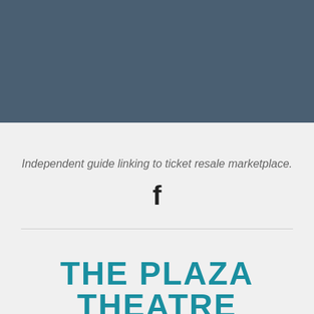[Figure (other): Dark blue-grey header band at the top of the page]
Independent guide linking to ticket resale marketplace.
[Figure (logo): Facebook 'f' icon in bold black]
[Figure (logo): The Plaza Theatre Performing Arts Center logo in teal/dark cyan]
Rules   Info   Parking   Address   Contact
Priv...   Polic...   Discl...